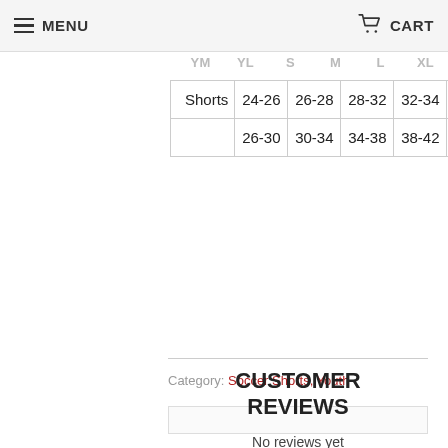MENU   CART
|  | YM | YL | S | M | L | XL |
| --- | --- | --- | --- | --- | --- | --- |
| Shorts | 24-26 | 26-28 | 28-32 | 32-34 | 34-38 | 38-42 |
|  | 26-30 | 30-34 | 34-38 | 38-42 | 42-44 | 45-48 |
Category: Soccer Shorts, Youth
CUSTOMER REVIEWS
No reviews yet
Write a review